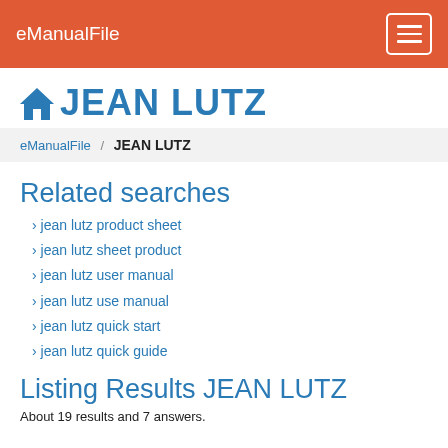eManualFile
JEAN LUTZ
eManualFile / JEAN LUTZ
Related searches
jean lutz product sheet
jean lutz sheet product
jean lutz user manual
jean lutz use manual
jean lutz quick start
jean lutz quick guide
Listing Results JEAN LUTZ
About 19 results and 7 answers.